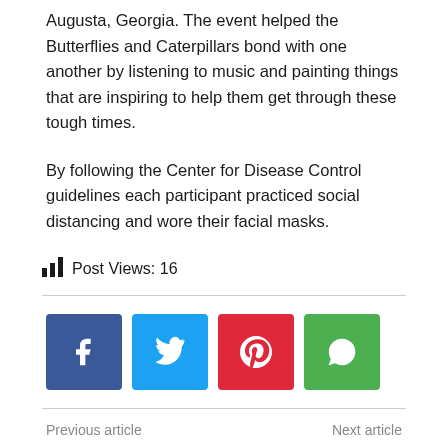Augusta, Georgia. The event helped the Butterflies and Caterpillars bond with one another by listening to music and painting things that are inspiring to help them get through these tough times.
By following the Center for Disease Control guidelines each participant practiced social distancing and wore their facial masks.
Post Views: 16
[Figure (infographic): Social share buttons: Facebook (blue), Twitter (light blue), Pinterest (red), WhatsApp (green)]
Previous article    Next article